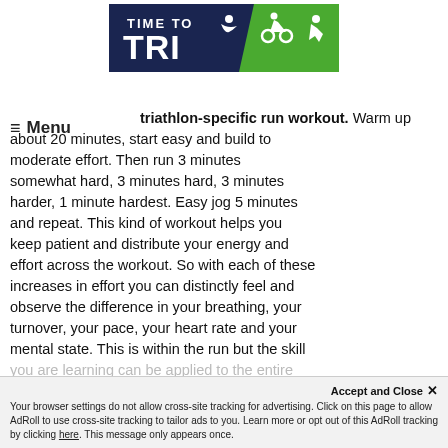[Figure (logo): Time to Tri logo with triathlon athlete icons on dark navy and green background]
≡ Menu
triathlon-specific run workout. Warm up about 20 minutes, start easy and build to moderate effort. Then run 3 minutes somewhat hard, 3 minutes hard, 3 minutes harder, 1 minute hardest. Easy jog 5 minutes and repeat. This kind of workout helps you keep patient and distribute your energy and effort across the workout. So with each of these increases in effort you can distinctly feel and observe the difference in your breathing, your turnover, your pace, your heart rate and your mental state. This is within the run but the skill you are learning can be applied to the entire
Accept and Close ✕
Your browser settings do not allow cross-site tracking for advertising. Click on this page to allow AdRoll to use cross-site tracking to tailor ads to you. Learn more or opt out of this AdRoll tracking by clicking here. This message only appears once.